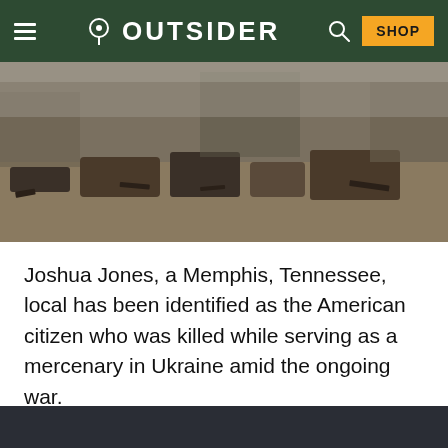OUTSIDER
[Figure (photo): Destroyed vehicles and debris scattered across a bombed-out urban area in Ukraine, with damaged buildings visible in the background.]
Joshua Jones, a Memphis, Tennessee, local has been identified as the American citizen who was killed while serving as a mercenary in Ukraine amid the ongoing war.
At a Glance
Several sources have named Memphis local